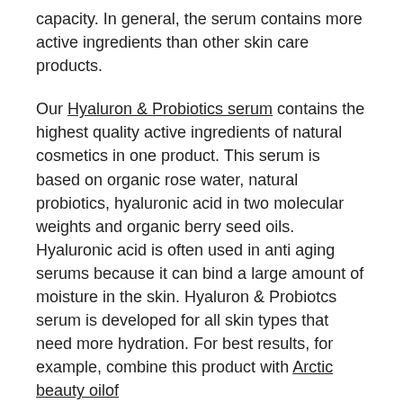capacity. In general, the serum contains more active ingredients than other skin care products.
Our Hyaluron & Probiotics serum contains the highest quality active ingredients of natural cosmetics in one product. This serum is based on organic rose water, natural probiotics, hyaluronic acid in two molecular weights and organic berry seed oils. Hyaluronic acid is often used in anti aging serums because it can bind a large amount of moisture in the skin. Hyaluron & Probiotcs serum is developed for all skin types that need more hydration. For best results, for example, combine this product with Arctic beauty oilof Lingonberry Bright Oil serum
How to nnatural face creams & serums choose
Choose a skincare product according to your skin type. The